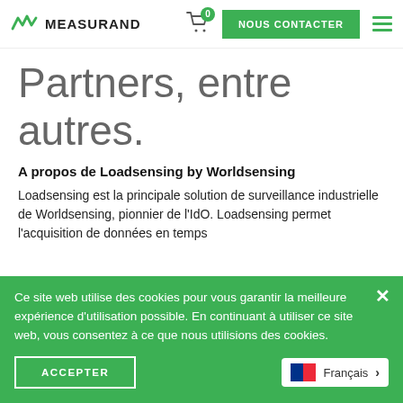MEASURAND — NOUS CONTACTER
Partners, entre autres.
A propos de Loadsensing by Worldsensing
Loadsensing est la principale solution de surveillance industrielle de Worldsensing, pionnier de l'IdO. Loadsensing permet l'acquisition de données en temps
Ce site web utilise des cookies pour vous garantir la meilleure expérience d'utilisation possible. En continuant à utiliser ce site web, vous consentez à ce que nous utilisions des cookies.
ACCEPTER
Français